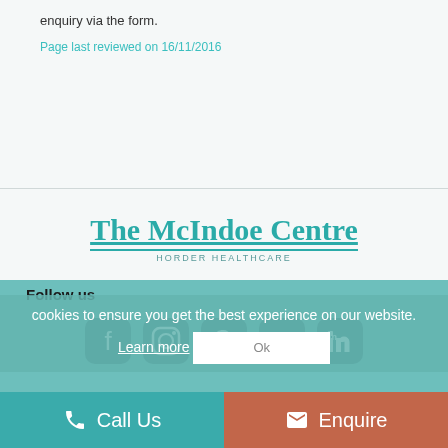enquiry via the form.
Page last reviewed on 16/11/2016
[Figure (logo): The McIndoe Centre - Horder Healthcare logo in teal]
Follow us
[Figure (infographic): Social media icons: Facebook, Instagram, Twitter, YouTube, LinkedIn]
cookies to ensure you get the best experience on our website. Learn more
Ok
Call Us
Enquire